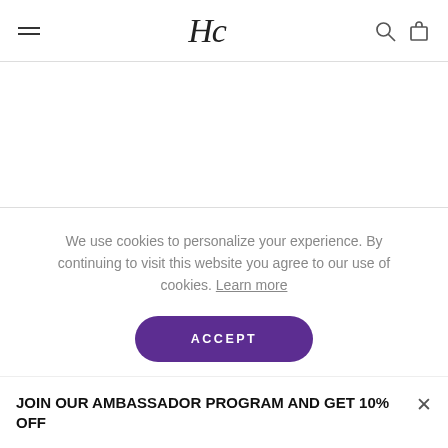HC logo with hamburger menu, search and cart icons
We use cookies to personalize your experience. By continuing to visit this website you agree to our use of cookies. Learn more
ACCEPT
JOIN OUR AMBASSADOR PROGRAM AND GET 10% OFF